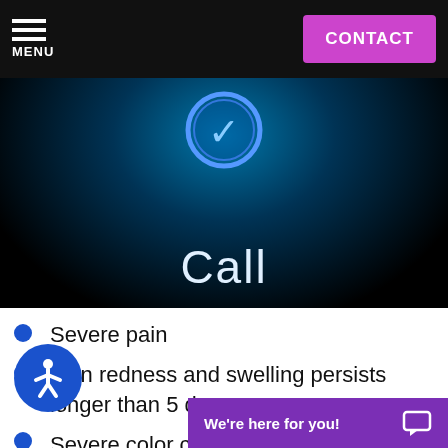MENU | CONTACT
[Figure (screenshot): Dark teal/black hero banner with phone call icon and text 'Call' in light blue]
Severe pain
Skin redness and swelling persists longer than 5 days
Severe color changes
We're here for you!